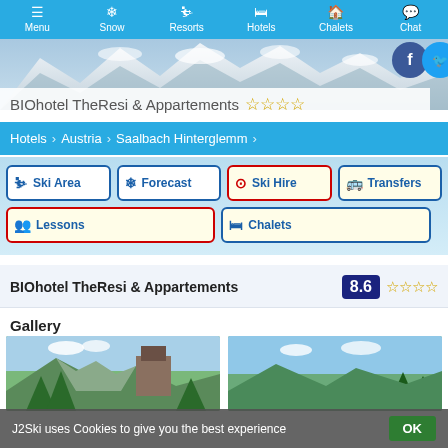Menu | Snow | Resorts | Hotels | Chalets | Chat
[Figure (screenshot): Mountain snow scene hero banner with social media icons (Facebook, Twitter) in top right]
BIOhotel TheResi & Appartements ★★★☆
Hotels > Austria > Saalbach Hinterglemm
Ski Area | Forecast | Ski Hire | Transfers | Lessons | Chalets
BIOhotel TheResi & Appartements  8.6 ★★★☆
Gallery
[Figure (photo): Two outdoor summer photos of the hotel area with green trees, mountains, and blue sky]
J2Ski uses Cookies to give you the best experience  OK